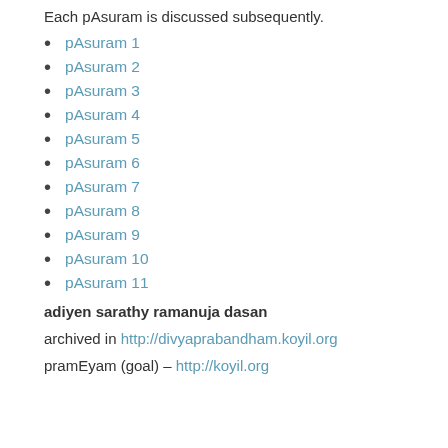Each pAsuram is discussed subsequently.
pAsuram 1
pAsuram 2
pAsuram 3
pAsuram 4
pAsuram 5
pAsuram 6
pAsuram 7
pAsuram 8
pAsuram 9
pAsuram 10
pAsuram 11
adiyen sarathy ramanuja dasan
archived in http://divyaprabandham.koyil.org
pramEyam (goal) – http://koyil.org